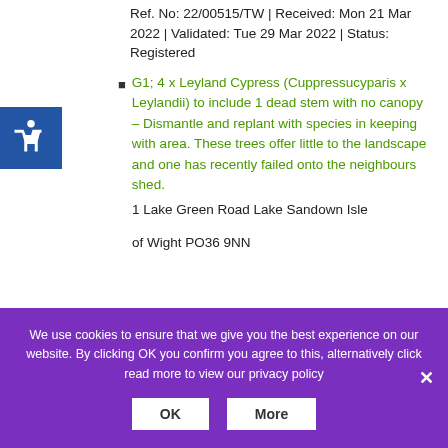Ref. No: 22/00515/TW | Received: Mon 21 Mar 2022 | Validated: Tue 29 Mar 2022 | Status: Registered
G1; 4 x Leyland Cypress (Cuppressucyparis x Leylandii) to include 1 dead stem with no canopy – Dismantle and replant with species in keeping with area. These trees offer little to the landscape and one has recently failed onto the neighbours shed.
1 Lake Green Road Lake Sandown Isle of Wight PO36 9NN
We use cookies to ensure that we give you the best experience on our website. By clicking OK you confirm you agree to this, alternatively click read more to view our privacy policy